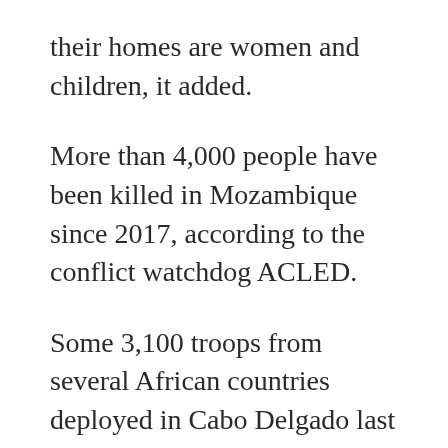their homes are women and children, it added.
More than 4,000 people have been killed in Mozambique since 2017, according to the conflict watchdog ACLED.
Some 3,100 troops from several African countries deployed in Cabo Delgado last June and retook control over much of the territory.
Diplomatic and humanitarian officials say the insurgents have since split into three